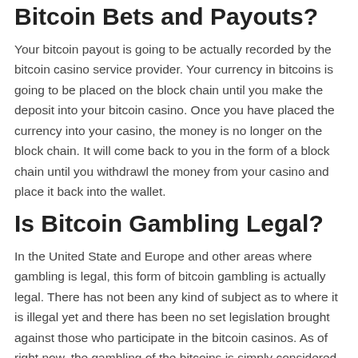Bitcoin Bets and Payouts?
Your bitcoin payout is going to be actually recorded by the bitcoin casino service provider. Your currency in bitcoins is going to be placed on the block chain until you make the deposit into your bitcoin casino. Once you have placed the currency into your casino, the money is no longer on the block chain. It will come back to you in the form of a block chain until you withdrawl the money from your casino and place it back into the wallet.
Is Bitcoin Gambling Legal?
In the United State and Europe and other areas where gambling is legal, this form of bitcoin gambling is actually legal. There has not been any kind of subject as to where it is illegal yet and there has been no set legislation brought against those who participate in the bitcoin casinos. As of right now, the gambling of the bitcoins is simply considered to be a form of a